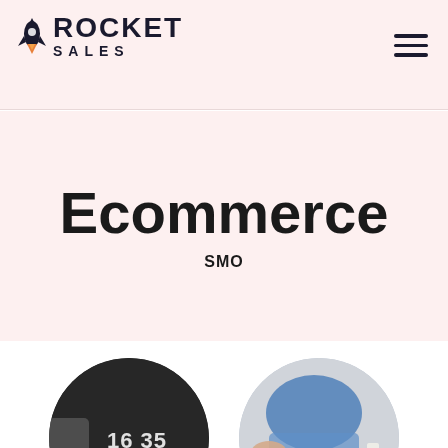ROCKET SALES
Ecommerce
SMO
[Figure (photo): Two circular cropped images: left shows a dark clock/timer with numbers 16 35 5 and a laptop, right shows a person in a blue jacket using a camera with a coffee cup]
[Figure (logo): Rocket Sales logo with orange rocket icon and dark bold text ROCKET SALES]